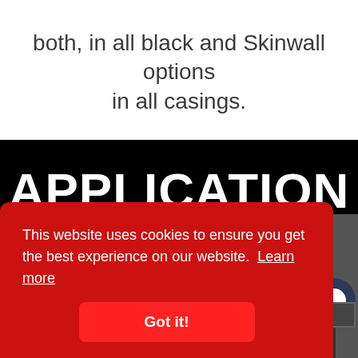both, in all black and Skinwall options in all casings.
APPLICATION GUIDE
This website uses cookies to ensure you get the best experience on our website. Learn more
Got it!